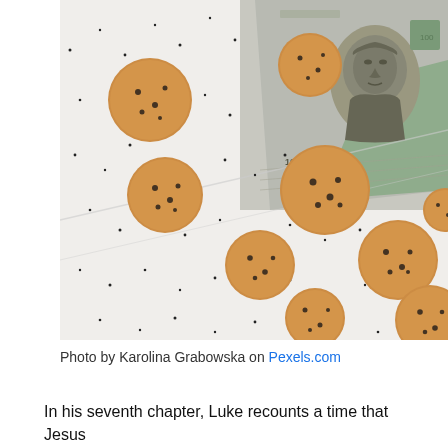[Figure (photo): A close-up photograph of a white surface covered in small black dots, with several round tan/golden circular adhesive bandage-like discs scattered across it. A US $100 bill is visible in the upper right corner, showing the portrait of Benjamin Franklin in black and white and a green seal.]
Photo by Karolina Grabowska on Pexels.com
In his seventh chapter, Luke recounts a time that Jesus